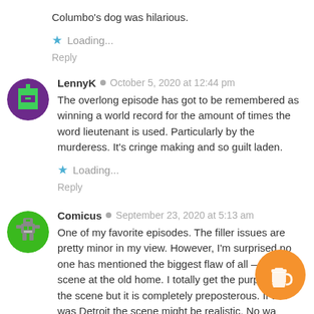Columbo's dog was hilarious.
Loading...
Reply
LennyK · October 5, 2020 at 12:44 pm
The overlong episode has got to be remembered as winning a world record for the amount of times the word lieutenant is used. Particularly by the murderess. It's cringe making and so guilt laden.
Loading...
Reply
Comicus · September 23, 2020 at 5:13 am
One of my favorite episodes. The filler issues are pretty minor in my view. However, I'm surprised no one has mentioned the biggest flaw of all — the scene at the old home. I totally get the purpose of the scene but it is completely preposterous. If this was Detroit the scene might be realistic. No way would be boarded up and abandoned for years in Lo... — real estate is far too valuable, even in crappy